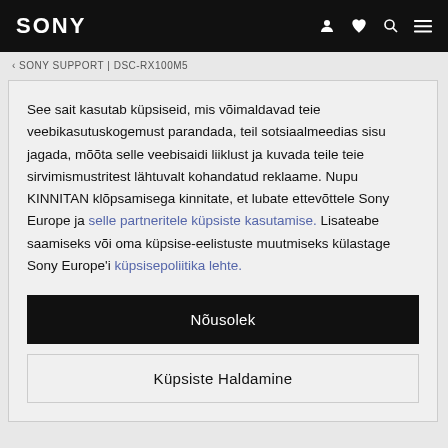SONY
‹ SONY SUPPORT | DSC-RX100M5
See sait kasutab küpsiseid, mis võimaldavad teie veebikasutuskogemust parandada, teil sotsiaalmeedias sisu jagada, mõõta selle veebisaidi liiklust ja kuvada teile teie sirvimismustritest lähtuvalt kohandatud reklaame. Nupu KINNITAN klõpsamisega kinnitate, et lubate ettevõttele Sony Europe ja selle partneritele küpsiste kasutamise. Lisateabe saamiseks või oma küpsise-eelistuste muutmiseks külastage Sony Europe'i küpsisepoliitika lehte.
Nõusolek
Küpsiste Haldamine